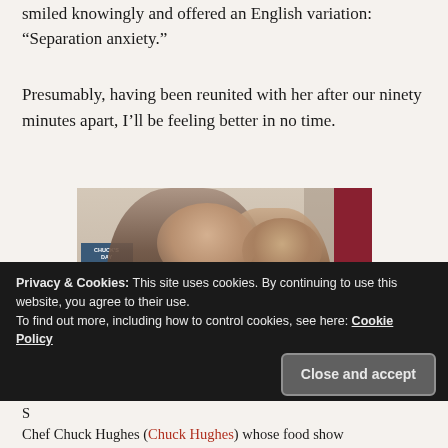smiled knowingly and offered an English variation: “Separation anxiety.”
Presumably, having been reunited with her after our ninety minutes apart, I’ll be feeling better in no time.
[Figure (photo): A selfie-style photo of two people (a man and a woman) close together. A book titled 'Chuck's Day Off' is visible in the background on the left, along with a red wall on the right.]
Privacy & Cookies: This site uses cookies. By continuing to use this website, you agree to their use.
To find out more, including how to control cookies, see here: Cookie Policy
Chef Chuck Hughes (Chuck Hughes) whose food show